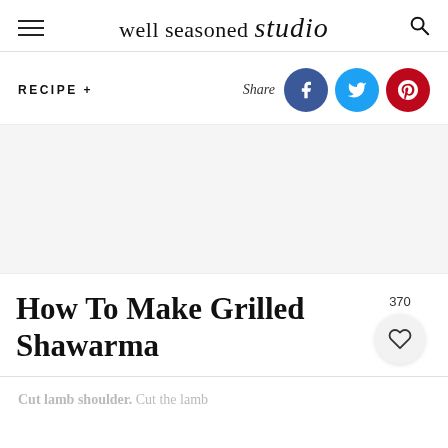well seasoned studio
RECIPE +
Share
[Figure (screenshot): Large food photo placeholder area (white/light gray)]
How To Make Grilled Shawarma
370
Cut lamb shoulder. Cut the lamb